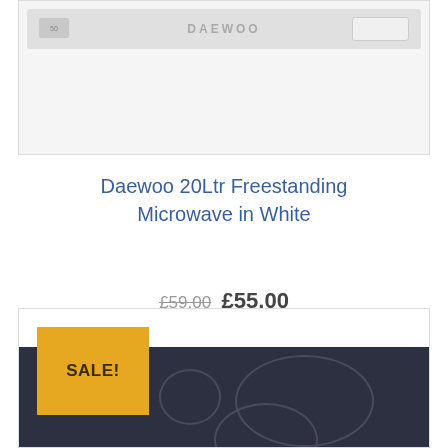[Figure (photo): Daewoo microwave oven product image showing front panel with brand name and controls]
Daewoo 20Ltr Freestanding Microwave in White
£59.00 £55.00
READ MORE
[Figure (photo): Second product image showing a dark-colored ceramic hob/cooktop with SALE! badge in yellow]